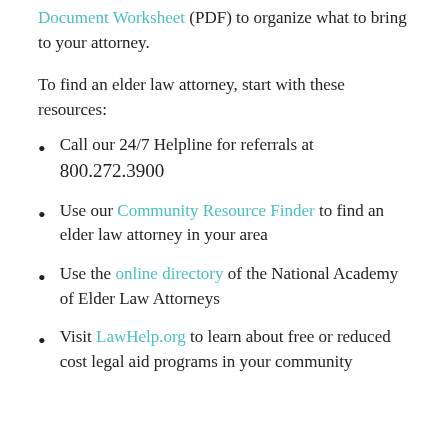Document Worksheet (PDF) to organize what to bring to your attorney.
To find an elder law attorney, start with these resources:
Call our 24/7 Helpline for referrals at 800.272.3900
Use our Community Resource Finder to find an elder law attorney in your area
Use the online directory of the National Academy of Elder Law Attorneys
Visit LawHelp.org to learn about free or reduced cost legal aid programs in your community